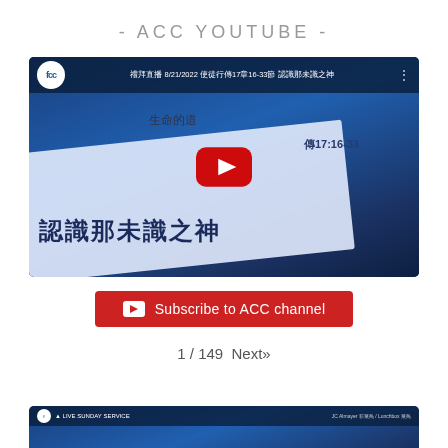- ACC YOUTUBE -
[Figure (screenshot): YouTube video thumbnail showing an ACC church live Sunday service video dated 8/21/2022, with Chinese text '認識那未識之神' (Knowing the Unknown God) and scripture reference 徒17:16-33, with a YouTube play button overlay]
Subscribe to ACC channel
1 / 149  Next»
[Figure (screenshot): Partial bottom thumbnail of another ACC live Sunday service YouTube video with blue background]